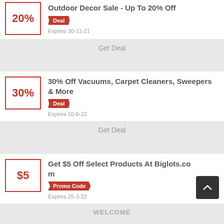Outdoor Decor Sale - Up To 20% Off
20%
Deal
Expires 30-11-21
Get Deal
30% Off Vacuums, Carpet Cleaners, Sweepers & More
30%
Deal
Expires 10-6-22
Get Deal
Get $5 Off Select Products At Biglots.com
$5
Promo Code
Expires 25-3-22
WELCOME